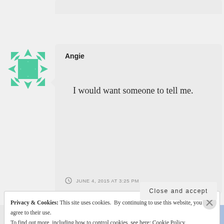[Figure (illustration): Green decorative avatar/icon with snowflake or geometric pattern design in teal/mint green color]
Angie
I would want someone to tell me.
JUNE 4, 2015 AT 3:25 PM
Privacy & Cookies: This site uses cookies. By continuing to use this website, you agree to their use.
To find out more, including how to control cookies, see here: Cookie Policy
Close and accept